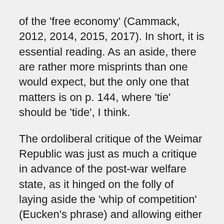of the 'free economy' (Cammack, 2012, 2014, 2015, 2017). In short, it is essential reading. As an aside, there are rather more misprints than one would expect, but the only one that matters is on p. 144, where 'tie' should be 'tide', I think.
The ordoliberal critique of the Weimar Republic was just as much a critique in advance of the post-war welfare state, as it hinged on the folly of laying aside the 'whip of competition' (Eucken's phrase) and allowing either the masses (in particular organised labour) to exercise undue influence over government or politicised business groups to impose their own selfish preferences upon it. Bonefeld systematically sets out its thinking on the free economy as political practice (Chapter Two), the (negative) relationship between